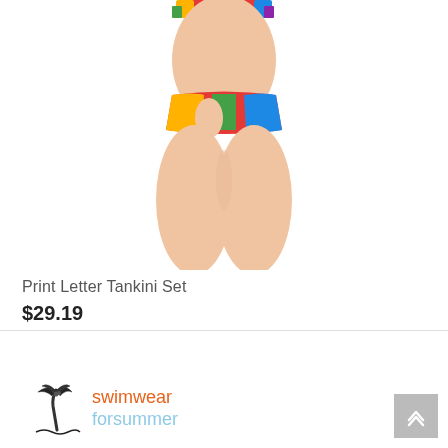[Figure (photo): Bottom half of a female model wearing a colorful print tankini bottom, against a white background. The image is cropped showing the torso/hip area down to mid-thigh.]
Print Letter Tankini Set
$29.19
[Figure (logo): Swimwear For Summer logo with a palm tree icon on the left, 'swimwear' in orange text and 'forsummer' in light blue text on the right.]